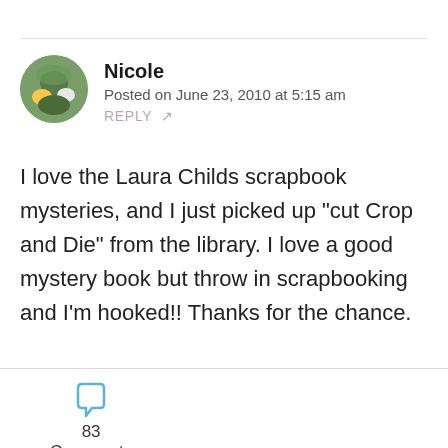Nicole
Posted on June 23, 2010 at 5:15 am
REPLY ↗
I love the Laura Childs scrapbook mysteries, and I just picked up "cut Crop and Die" from the library. I love a good mystery book but throw in scrapbooking and I'm hooked!! Thanks for the chance.
83 Comments